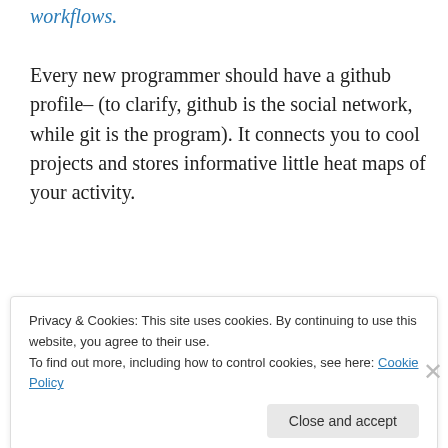workflows. Every new programmer should have a github profile– (to clarify, github is the social network, while git is the program). It connects you to cool projects and stores informative little heat maps of your activity.
[Figure (other): GitHub-style contribution heatmap grid showing activity from Oct through Feb, with green cells of varying intensity indicating commit activity. Month labels: Oct, Nov, Dec, Jan, Feb. Legend shows Less to More with color scale.]
Privacy & Cookies: This site uses cookies. By continuing to use this website, you agree to their use. To find out more, including how to control cookies, see here: Cookie Policy
Close and accept